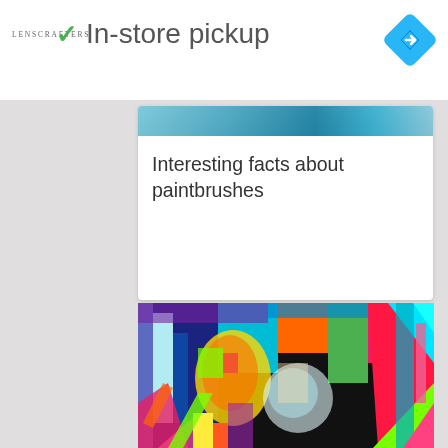[Figure (screenshot): LensCrafters logo with green checkmark and 'In-store pickup' text, plus a blue diamond navigation icon in the top right. This is an advertisement bar.]
[Figure (screenshot): Small ad icons (play and X symbols) on the left side]
[Figure (screenshot): Up chevron/arrow button on the left]
[Figure (screenshot): Top portion of a card showing a colorful sky/abstract image strip at top]
Interesting facts about paintbrushes
[Figure (illustration): Colorful psychedelic/abstract artwork featuring distorted faces, vibrant colors including pinks, greens, blues, yellows in an urban scene collage style]